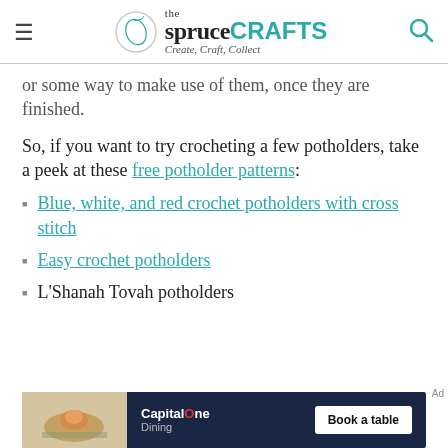the spruce CRAFTS — Create, Craft, Collect
or some way to make use of them, once they are finished.
So, if you want to try crocheting a few potholders, take a peek at these free potholder patterns:
Blue, white, and red crochet potholders with cross stitch
Easy crochet potholders
L'Shanah Tovah potholders
[Figure (screenshot): Capital One Dining advertisement banner with food image and Book a table button]